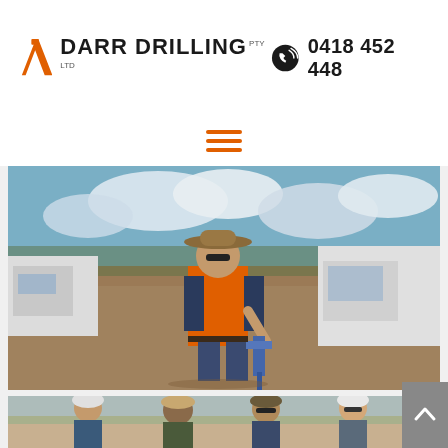[Figure (logo): Darr Drilling Pty Ltd logo with orange figure and drill icon]
0418 452 448
[Figure (other): Hamburger menu icon (three orange horizontal bars)]
[Figure (photo): Worker in orange high-vis shirt and cowboy hat standing next to a water well bore head on a dirt site, with trucks in background]
[Figure (photo): Group of four workers in hard hats and safety gear standing together outdoors at a drilling site]